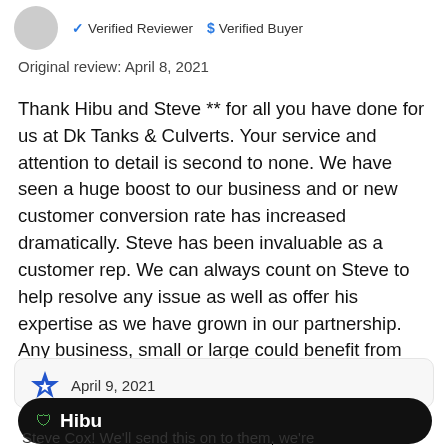[Figure (other): User avatar (grey circle) with Verified Reviewer and Verified Buyer badges]
Original review: April 8, 2021
Thank Hibu and Steve ** for all you have done for us at Dk Tanks & Culverts. Your service and attention to detail is second to none. We have seen a huge boost to our business and or new customer conversion rate has increased dramatically. Steve has been invaluable as a customer rep. We can always count on Steve to help resolve any issue as well as offer his expertise as we have grown in our partnership. Any business, small or large could benefit from Hibu. Thank you for all you do.
April 9, 2021
Hibu
Steve Cox! We'll send this on to them, we're